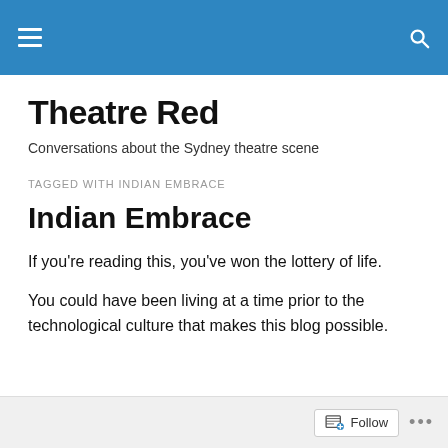Theatre Red — navigation bar
Theatre Red
Conversations about the Sydney theatre scene
TAGGED WITH INDIAN EMBRACE
Indian Embrace
If you're reading this, you've won the lottery of life.
You could have been living at a time prior to the technological culture that makes this blog possible.
Follow